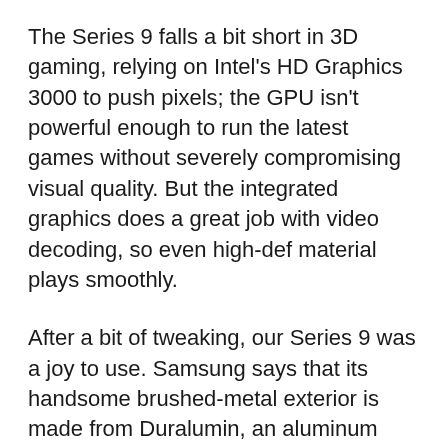The Series 9 falls a bit short in 3D gaming, relying on Intel's HD Graphics 3000 to push pixels; the GPU isn't powerful enough to run the latest games without severely compromising visual quality. But the integrated graphics does a great job with video decoding, so even high-def material plays smoothly.
After a bit of tweaking, our Series 9 was a joy to use. Samsung says that its handsome brushed-metal exterior is made from Duralumin, an aluminum alloy first made for rigid airships and planes. The system feels stiff and sturdy, with very little flex. The 13.3-inch LED backlit screen is one of the laptop's best features. The 1366 by 768 resolution is appropriate for its size, but the vibrant colors, excellent viewing angles, bright backlight,